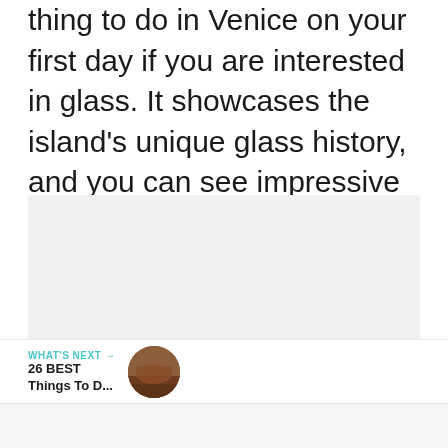thing to do in Venice on your first day if you are interested in glass. It showcases the island's unique glass history, and you can see impressive chandeliers and mosaic glass.
[Figure (photo): A light gray placeholder image area with social interaction buttons (heart/like, count showing 3, share) on the left side, and three small dot indicators at the bottom center.]
WHAT'S NEXT → 26 BEST Things To D...
[Figure (photo): Small circular thumbnail showing a reddish-brown landscape photo.]